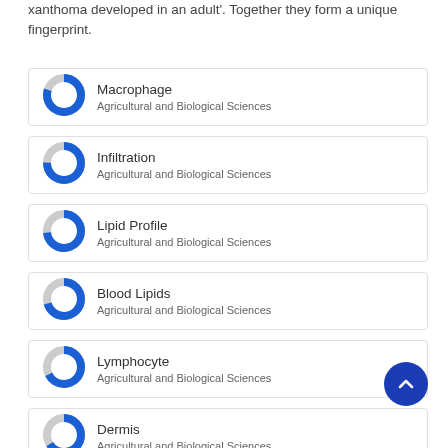xanthoma developed in an adult'. Together they form a unique fingerprint.
Macrophage — Agricultural and Biological Sciences
Infiltration — Agricultural and Biological Sciences
Lipid Profile — Agricultural and Biological Sciences
Blood Lipids — Agricultural and Biological Sciences
Lymphocyte — Agricultural and Biological Sciences
Dermis — Agricultural and Biological Sciences